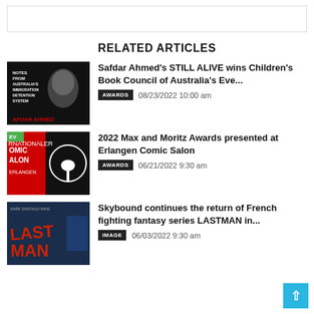RELATED ARTICLES
[Figure (photo): Black and white book cover for 'Still Alive' by Safdar Ahmed, showing a man looking upward with text about Australia's immigration detention system]
Safdar Ahmed's STILL ALIVE wins Children's Book Council of Australia's Eve...
AWARDS  08/23/2022 10:00 am
[Figure (photo): Erlangen Comic Salon logo with red background showing COMIC SALON ERLANGEN text and a circular logo]
2022 Max and Moritz Awards presented at Erlangen Comic Salon
AWARDS  06/21/2022 9:30 am
[Figure (photo): LASTMAN comic book cover with blue and red tones]
Skybound continues the return of French fighting fantasy series LASTMAN in...
IMAGE  06/03/2022 9:30 am